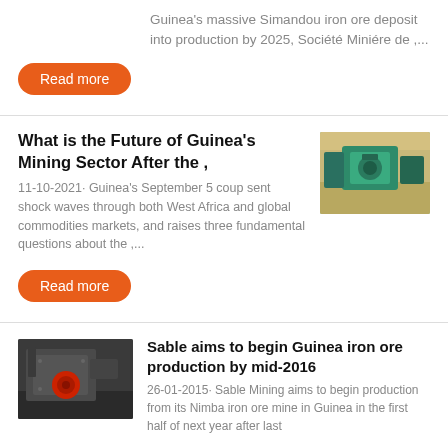Guinea's massive Simandou iron ore deposit into production by 2025, Société Miniére de ,...
Read more
What is the Future of Guinea's Mining Sector After the ,
[Figure (photo): Industrial green machinery/crusher equipment in a warehouse]
11-10-2021· Guinea's September 5 coup sent shock waves through both West Africa and global commodities markets, and raises three fundamental questions about the ,...
Read more
[Figure (photo): Dark industrial crushing/mining machine with red components]
Sable aims to begin Guinea iron ore production by mid-2016
26-01-2015· Sable Mining aims to begin production from its Nimba iron ore mine in Guinea in the first half of next year after last